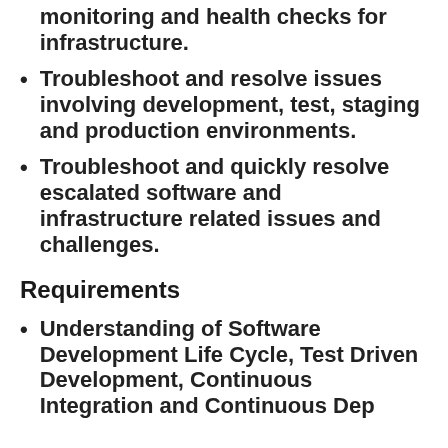monitoring and health checks for infrastructure.
Troubleshoot and resolve issues involving development, test, staging and production environments.
Troubleshoot and quickly resolve escalated software and infrastructure related issues and challenges.
Requirements
Understanding of Software Development Life Cycle, Test Driven Development, Continuous Integration and Continuous Deployment.